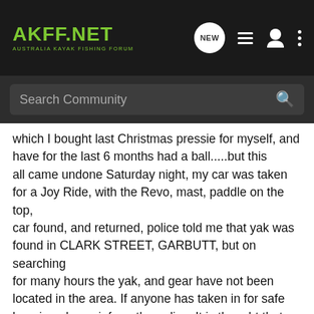AKFF.NET — AUSTRALIA KAYAK FISHING FORUM
Search Community
which I bought last Christmas pressie for myself, and have for the last 6 months had a ball.....but this all came undone Saturday night, my car was taken for a Joy Ride, with the Revo, mast, paddle on the top, car found, and returned, police told me that yak was found in CLARK STREET, GARBUTT, but on searching for many hours the yak, and gear have not been located in the area. If anyone has taken in for safe keeping please inform the police. It is thought that the yak was thrown off the roof of the car whilst doing 'wheelies' and must have made a heck of a noise if this is the case, especially if it hit another car parked in the street. Anyone being offered a 2nd hand Revo 11 Golden Papaya [Bright yellow] WITHOUT it,s Mirage drive, but a sail,mast fitted with a Binks furler could be offered please do the right